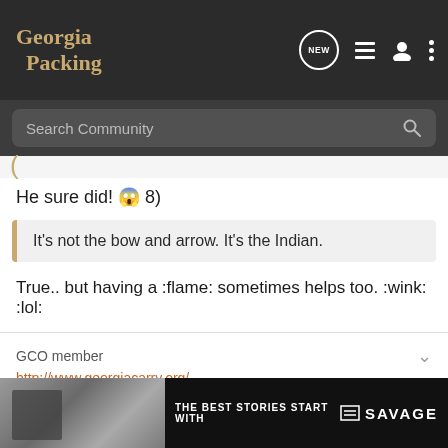Georgia Packing
Search Community
He sure did! 😱 8)
It's not the bow and arrow. It's the Indian.
True.. but having a :flame: sometimes helps too. :wink: :lol:
GCO member
http://www.georgiacarry.org/
[Figure (screenshot): Ad banner: THE BEST STORIES START WITH SAVAGE]